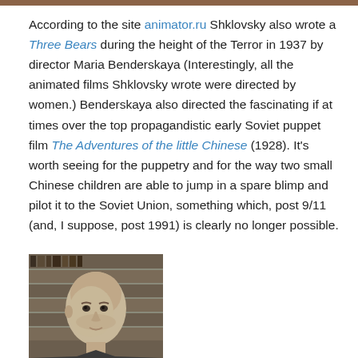According to the site animator.ru Shklovsky also wrote a Three Bears during the height of the Terror in 1937 by director Maria Benderskaya (Interestingly, all the animated films Shklovsky wrote were directed by women.) Benderskaya also directed the fascinating if at times over the top propagandistic early Soviet puppet film The Adventures of the little Chinese (1928). It's worth seeing for the puppetry and for the way two small Chinese children are able to jump in a spare blimp and pilot it to the Soviet Union, something which, post 9/11 (and, I suppose, post 1991) is clearly no longer possible.
[Figure (photo): Black and white photograph of a bald man in front of bookshelves]